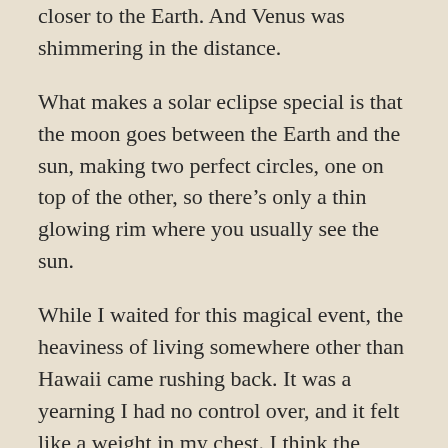closer to the Earth. And Venus was shimmering in the distance.
What makes a solar eclipse special is that the moon goes between the Earth and the sun, making two perfect circles, one on top of the other, so there's only a thin glowing rim where you usually see the sun.
While I waited for this magical event, the heaviness of living somewhere other than Hawaii came rushing back. It was a yearning I had no control over, and it felt like a weight in my chest. I think the Topangas would call it my heart chakra, which is located below the ivory elephant and coral necklace Dad gave me. I missed Oahu, the trees and green of Diamond Head's hillside. I lit up a Lark, and hot-boxed it with a deep inhale. When I let the smoke out, I said, “Hi Dad. I miss you. Do you see me?” I walked into the ocean and scooped up some water. As it slipped through my fingers I asked, “Where are you? Can you hear my